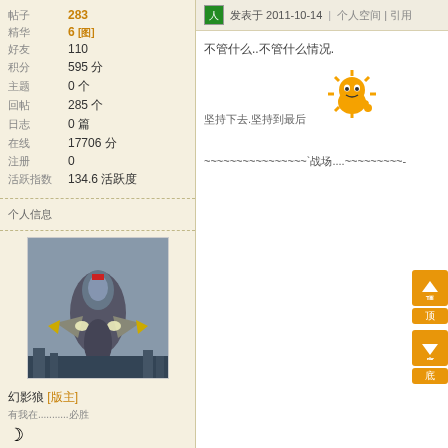帖子 283
精华 6 [图]
好友 110
积分 595 分
主题 0 个
回帖 285 个
日志 0 篇
在线 17706 分
注册 0
活跃指数 134.6 活跃度
个人信息
[Figure (photo): User avatar showing a futuristic jet/mecha aircraft face-on view]
幻影狼 [版主]
有我在...........必胜
发表于 2011-10-14  |  个人空间  | 引用
不管什么..不管什么情况.
[Figure (illustration): Sun emoji character - orange round face with sun rays]
坚持下去.坚持到最后
~~~~~~~~~~~~~~~~`战场....~~~~~~~~~-